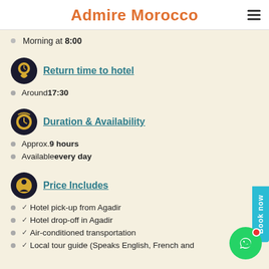Admire Morocco
Morning at 8:00
Return time to hotel
Around 17:30
Duration & Availability
Approx. 9 hours
Available every day
Price Includes
Hotel pick-up from Agadir
Hotel drop-off in Agadir
Air-conditioned transportation
Local tour guide (Speaks English, French and